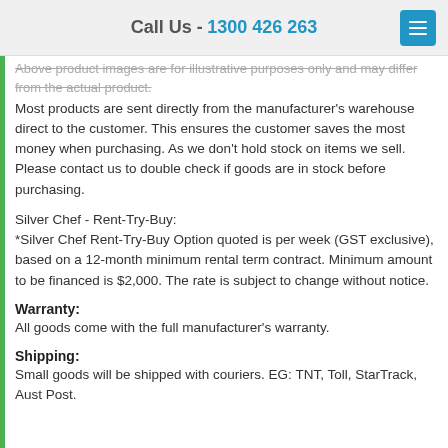Call Us - 1300 426 263
Above product images are for illustrative purposes only and may differ from the actual product.
Most products are sent directly from the manufacturer's warehouse direct to the customer. This ensures the customer saves the most money when purchasing. As we don't hold stock on items we sell. Please contact us to double check if goods are in stock before purchasing.
Silver Chef - Rent-Try-Buy:
*Silver Chef Rent-Try-Buy Option quoted is per week (GST exclusive), based on a 12-month minimum rental term contract. Minimum amount to be financed is $2,000. The rate is subject to change without notice.
Warranty:
All goods come with the full manufacturer's warranty.
Shipping:
Small goods will be shipped with couriers. EG: TNT, Toll, StarTrack, Aust Post.